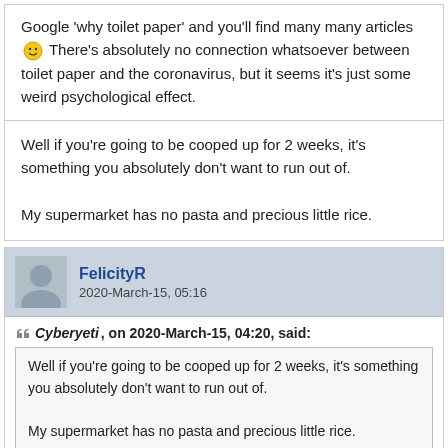Google 'why toilet paper' and you'll find many many articles 🙂 There's absolutely no connection whatsoever between toilet paper and the coronavirus, but it seems it's just some weird psychological effect.
Well if you're going to be cooped up for 2 weeks, it's something you absolutely don't want to run out of.

My supermarket has no pasta and precious little rice.
FelicityR
2020-March-15, 05:16
Cyberyeti, on 2020-March-15, 04:20, said:
Well if you're going to be cooped up for 2 weeks, it's something you absolutely don't want to run out of.

My supermarket has no pasta and precious little rice.
Just read that the British government is going to ask people over 70